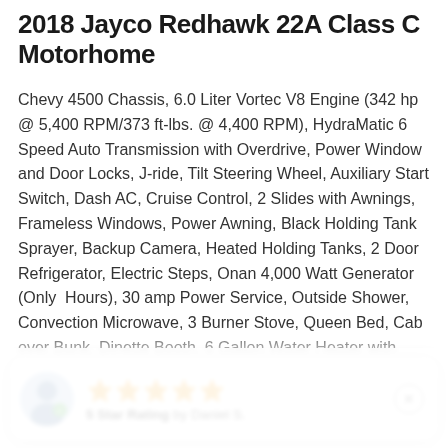2018 Jayco Redhawk 22A Class C Motorhome
Chevy 4500 Chassis, 6.0 Liter Vortec V8 Engine (342 hp @ 5,400 RPM/373 ft-lbs. @ 4,400 RPM), HydraMatic 6 Speed Auto Transmission with Overdrive, Power Window and Door Locks, J-ride, Tilt Steering Wheel, Auxiliary Start Switch, Dash AC, Cruise Control, 2 Slides with Awnings, Frameless Windows, Power Awning, Black Holding Tank Sprayer, Backup Camera, Heated Holding Tanks, 2 Door Refrigerator, Electric Steps, Onan 4,000 Watt Generator (Only  Hours), 30 amp Power Service, Outside Shower, Convection Microwave, 3 Burner Stove, Queen Bed, Cab over Bunk, Dinette Booth, 6 Gallon Water Heater with DSI, Ducted AC, Skylight, GVWR: 14,200 lbs, Tow Capacity: 5,000 lbs, Fuel Capacity: 57 Gallons, Length: 25 Feet 2 Inches, Width: 100 Inches, Exterior Height: 11 Feet 6 Inches, Interior Height: 84 Inches, Wheelbase: 159 Inches, Fresh Water Tank: 43.5 Gallons, Grey Water Tank: 40 Gallons, Black Water Tank: 32 Gallons,
5 Star Rating by Daniel S.